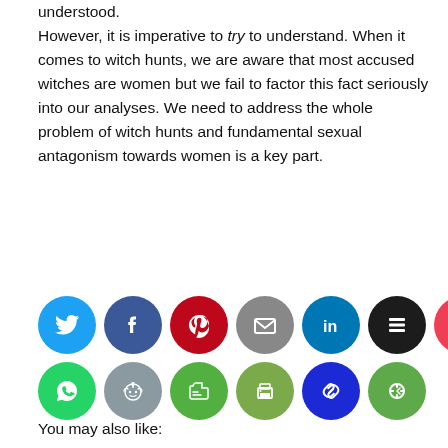understood. However, it is imperative to try to understand. When it comes to witch hunts, we are aware that most accused witches are women but we fail to factor this fact seriously into our analyses. We need to address the whole problem of witch hunts and fundamental sexual antagonism towards women is a key part.
[Figure (other): Social media share buttons: Twitter, Facebook, Pinterest, Email, LinkedIn, Buffer, Pocket (top row); WhatsApp, Reddit, Evernote, Print, URL/Copy, ??? (bottom row)]
You may also like: